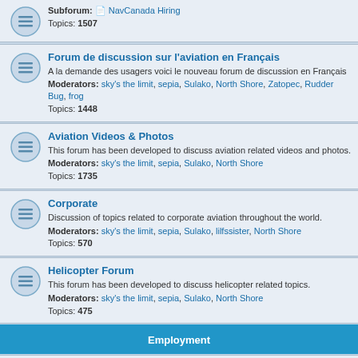Subforum: NavCanada Hiring
Topics: 1507
Forum de discussion sur l'aviation en Français
A la demande des usagers voici le nouveau forum de discussion en Français
Moderators: sky's the limit, sepia, Sulako, North Shore, Zatopec, Rudder Bug, frog
Topics: 1448
Aviation Videos & Photos
This forum has been developed to discuss aviation related videos and photos.
Moderators: sky's the limit, sepia, Sulako, North Shore
Topics: 1735
Corporate
Discussion of topics related to corporate aviation throughout the world.
Moderators: sky's the limit, sepia, Sulako, lilfssister, North Shore
Topics: 570
Helicopter Forum
This forum has been developed to discuss helicopter related topics.
Moderators: sky's the limit, sepia, Sulako, North Shore
Topics: 475
Employment
Aviation Job Ads (Free)
AvCanada's free job forum. Please read the first topic in this forum to learn how to post a position opening.
Moderators: sky's the limit, sepia, Sulako, avcanada
Subforum: Hire me
Topics: 508
Employment Forum